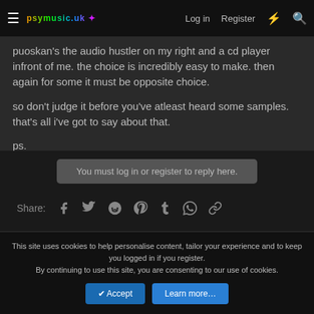psymusic.uk — Log in  Register
puoskan's the audio hustler on my right and a cd player infront of me. the choice is incredibly easy to make. then again for some it must be opposite choice.

so don't judge it before you've atleast heard some samples. that's all i've got to say about that.

ps.

tuubi vs suomisaundi fight is not welcome here..
You must log in or register to reply here.
Share:
This site uses cookies to help personalise content, tailor your experience and to keep you logged in if you register.
By continuing to use this site, you are consenting to our use of cookies.